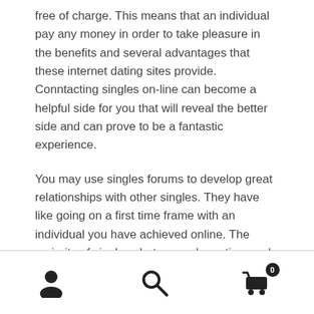free of charge. This means that an individual pay any money in order to take pleasure in the benefits and several advantages that these internet dating sites provide. Conntacting singles on-line can become a helpful side for you that will reveal the better side and can prove to be a fantastic experience.
You may use singles forums to develop great relationships with other singles. They have like going on a first time frame with an individual you have achieved online. The majority of singles chat rooms have time and therefore it is not necessary to spend profit order to rely on them. There are various rewards that you can gain from using these dating internet site chats. A benefit is that you get to have a lot of fun communicating with singles and this
[navigation icons: user, search, cart(0)]